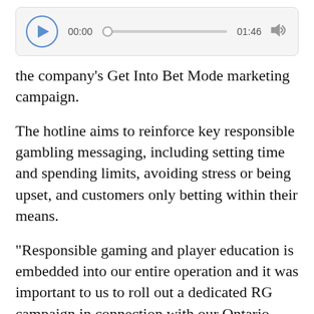[Figure (other): Audio player widget showing play button, time 00:00, progress bar, end time 01:46, and volume icon]
the company's Get Into Bet Mode marketing campaign.
The hotline aims to reinforce key responsible gambling messaging, including setting time and spending limits, avoiding stress or being upset, and customers only betting within their means.
“Responsible gaming and player education is embedded into our entire operation and it was important to us to roll out a dedicated RG campaign in connection with our Ontario launch,” said theScore Senior Vice President, Marketing and Content, Aubrey Levy.
“While helping those with gambling problems is